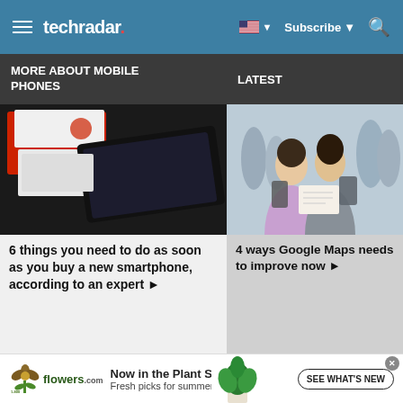techradar
MORE ABOUT MOBILE PHONES
LATEST
[Figure (photo): Photo of a smartphone unboxed from a red and white box on a dark surface]
6 things you need to do as soon as you buy a new smartphone, according to an expert ▶
[Figure (photo): Photo of two women looking at a map on a busy street]
4 ways Google Maps needs to improve now ▶
[Figure (other): Advertisement for 1-800-flowers.com: Now in the Plant Shop. Fresh picks for summer. SEE WHAT'S NEW button.]